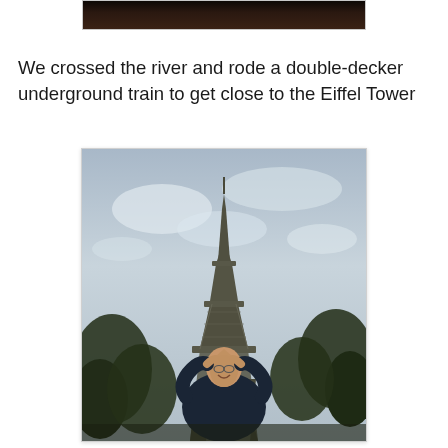[Figure (photo): Top portion of a previous photo showing a dark/nighttime scene, partially cropped at the top of the page]
We crossed the river and rode a double-decker underground train to get close to the Eiffel Tower
[Figure (photo): Person standing in front of the Eiffel Tower in Paris, arms raised above head, wearing a dark jacket, with trees and cloudy sky visible in background]